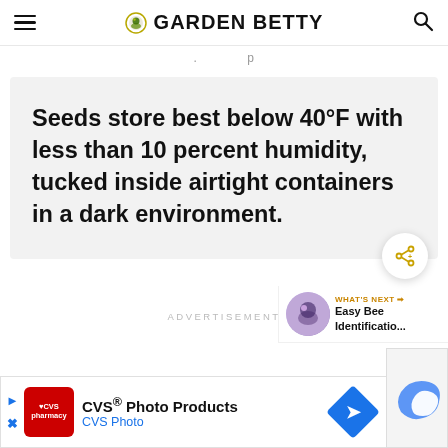GARDEN BETTY
. p
Seeds store best below 40°F with less than 10 percent humidity, tucked inside airtight containers in a dark environment.
ADVERTISEMENT
WHAT'S NEXT → Easy Bee Identificatio...
CVS® Photo Products CVSPhoto